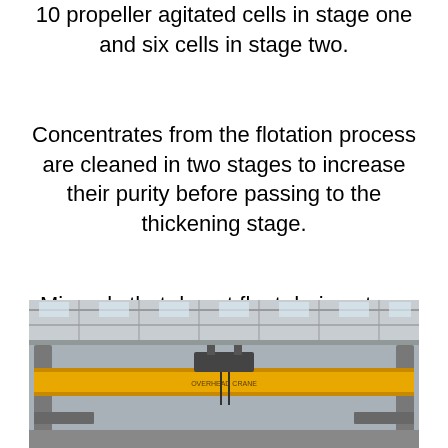10 propeller agitated cells in stage one and six cells in stage two.
Concentrates from the flotation process are cleaned in two stages to increase their purity before passing to the thickening stage.
Minerals that do not float during stage two are considered tailings.
[Figure (photo): Industrial overhead crane with yellow beam structure inside a large warehouse or processing facility with steel roof trusses]